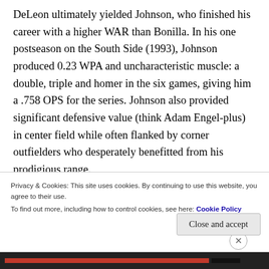DeLeon ultimately yielded Johnson, who finished his career with a higher WAR than Bonilla. In his one postseason on the South Side (1993), Johnson produced 0.23 WPA and uncharacteristic muscle: a double, triple and homer in the six games, giving him a .758 OPS for the series. Johnson also provided significant defensive value (think Adam Engel-plus) in center field while often flanked by corner outfielders who desperately benefitted from his prodigious range.
Privacy & Cookies: This site uses cookies. By continuing to use this website, you agree to their use.
To find out more, including how to control cookies, see here: Cookie Policy